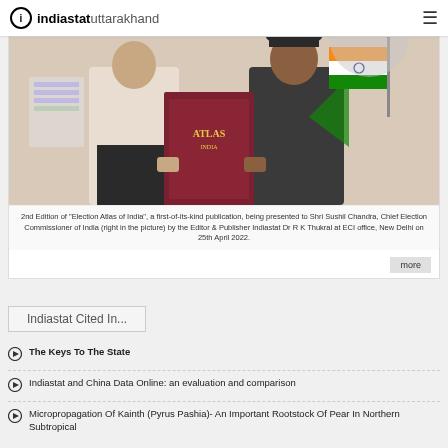indiastat uttarakhand
[Figure (photo): Two men in formal attire holding a book titled 'Election Atlas of India' with an Indian flag in the background at an office.]
2nd Edition of "Election Atlas of India", a first-of-its-kind publication, being presented to Shri Sushil Chandra, Chief Election Commissioner of India (right in the picture) by the Editor & Publisher Indiastat Dr R K Thukral at ECI office, New Delhi on 25th April 2022.
Indiastat Cited In...
The Keys To The State
Indiastat and China Data Online: an evaluation and comparison
Micropropagation Of Kainth (Pyrus Pashia)- An Important Rootstock Of Pear In Northern Subtropical